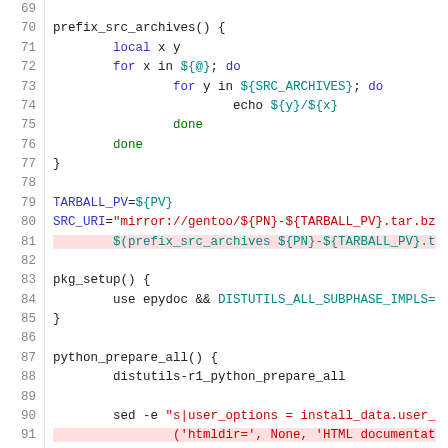[Figure (screenshot): Source code listing in shell/bash script showing functions prefix_src_archives, pkg_setup, and python_prepare_all with syntax highlighting. Line numbers 69-99 visible.]